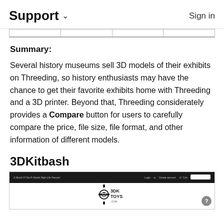Support   Sign in
Summary: Several history museums sell 3D models of their exhibits on Threeding, so history enthusiasts may have the chance to get their favorite exhibits home with Threeding and a 3D printer. Beyond that, Threeding considerately provides a Compare button for users to carefully compare the price, file size, file format, and other information of different models.
3DKitbash
[Figure (screenshot): Screenshot of 3DKitbash website showing a dark navigation bar with site name and links on left, login/cart links on right, and a 3DK Toys logo in the center of the page body.]